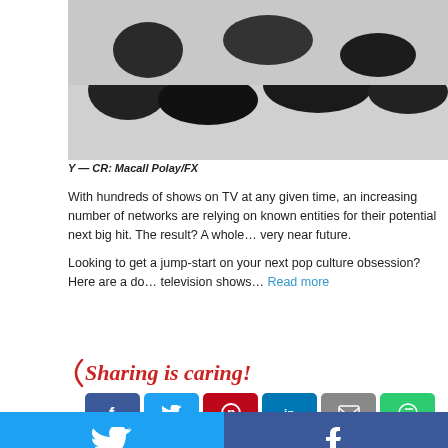[Figure (photo): Black and white photo of animals (likely horses or similar) in a scene, cropped at top of page]
Y — CR: Macall Polay/FX
With hundreds of shows on TV at any given time, an increasing number of networks are relying on known entities for their potential next big hit. The result? A whole lot coming in the very near future.
Looking to get a jump-start on your next pop culture obsession? Here are a dozen upcoming television shows… Read more
Sharing is caring!
[Figure (screenshot): Social media share overlay panel with Twitter (blue), Facebook (dark blue), Email (grey), WhatsApp (green), SMS (blue), Flipboard (green) buttons]
Six adaptation, Daisy foundation, Foundation adaptation, Harriet the Spy show, jonah nolan, Library show, Rust, Rust adaptation, e tv show, stephen king, ERIPHERAL, THE PE